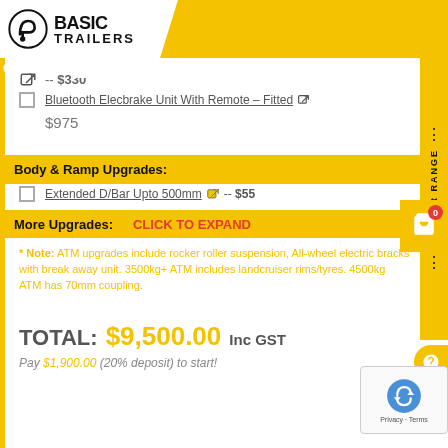[Figure (logo): Basic Trailers logo with yellow header bar, search, user and menu icons]
-- $330 (link icon)
Bluetooth Elecbrake Unit With Remote – Fitted -- $975
Body & Ramp Upgrades:
Extended D/Bar Upto 500mm (link icon) -- $55
More Upgrades: CLICK TO EXPAND
* Note: ATM upgrades include rocker roller suspension, All-wheel electric bracks with break away unit. 3500kg+ ATM includes landcruiser rims/tyres. 4500kg ATM has 70mm coupling.
TOTAL: $9,500.00 Inc GST
Pay $1,900.00 (20% deposit) to start!